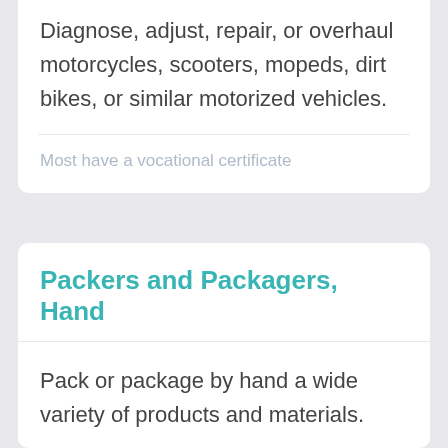Diagnose, adjust, repair, or overhaul motorcycles, scooters, mopeds, dirt bikes, or similar motorized vehicles.
Most have a vocational certificate
Packers and Packagers, Hand
Pack or package by hand a wide variety of products and materials.